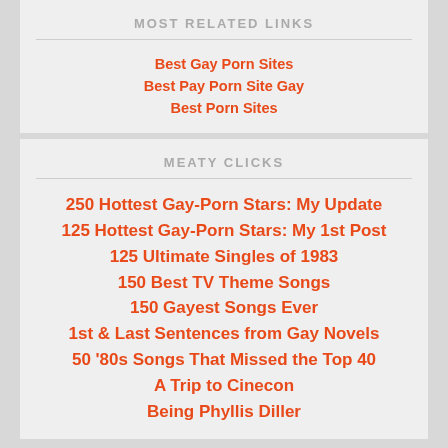MOST RELATED LINKS
Best Gay Porn Sites
Best Pay Porn Site Gay
Best Porn Sites
MEATY CLICKS
250 Hottest Gay-Porn Stars: My Update
125 Hottest Gay-Porn Stars: My 1st Post
125 Ultimate Singles of 1983
150 Best TV Theme Songs
150 Gayest Songs Ever
1st & Last Sentences from Gay Novels
50 '80s Songs That Missed the Top 40
A Trip to Cinecon
Being Phyllis Diller